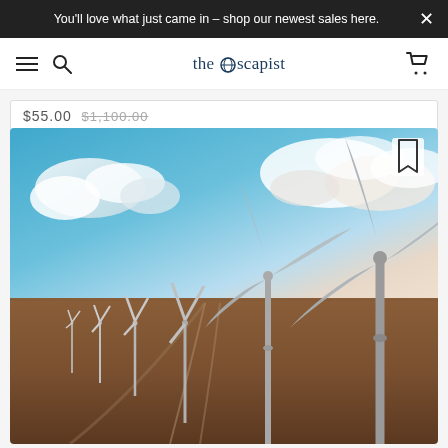You'll love what just came in – shop our newest sales here.
the Escapist – navigation bar
$55.00  $1,100.00
[Figure (photo): Aerial view of a wind farm with multiple large wind turbines arranged along a dirt road in a flat, arid landscape. The sky has dramatic clouds with a blue and warm-toned gradient.]